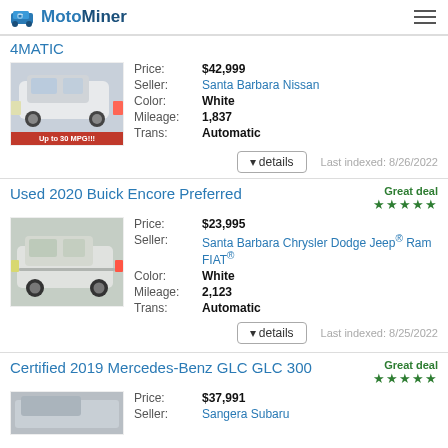MotoMiner
4MATIC
Price: $42,999 | Seller: Santa Barbara Nissan | Color: White | Mileage: 1,837 | Trans: Automatic | Last indexed: 8/26/2022
Used 2020 Buick Encore Preferred
Great deal ★★★★★
Price: $23,995 | Seller: Santa Barbara Chrysler Dodge Jeep® Ram FIAT® | Color: White | Mileage: 2,123 | Trans: Automatic | Last indexed: 8/25/2022
Certified 2019 Mercedes-Benz GLC GLC 300
Great deal ★★★★★
Price: $37,991 | Seller: Sangera Subaru